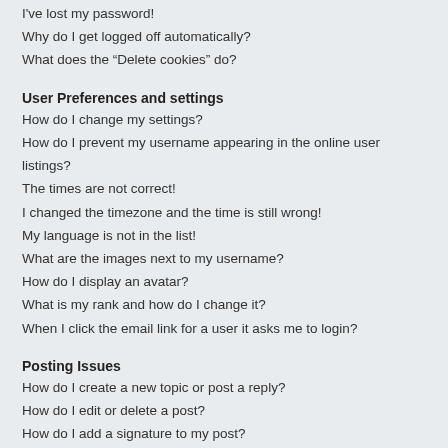I've lost my password!
Why do I get logged off automatically?
What does the "Delete cookies" do?
User Preferences and settings
How do I change my settings?
How do I prevent my username appearing in the online user listings?
The times are not correct!
I changed the timezone and the time is still wrong!
My language is not in the list!
What are the images next to my username?
How do I display an avatar?
What is my rank and how do I change it?
When I click the email link for a user it asks me to login?
Posting Issues
How do I create a new topic or post a reply?
How do I edit or delete a post?
How do I add a signature to my post?
How do I create a poll?
Why can't I add more poll options?
How do I edit or delete a poll?
Why can't I access a forum?
Why can't I add attachments?
Why did I receive a warning?
How can I report posts to a moderator?
What is the "Save" button for in topic posting?
Why does my post need to be approved?
How do I bump my topic?